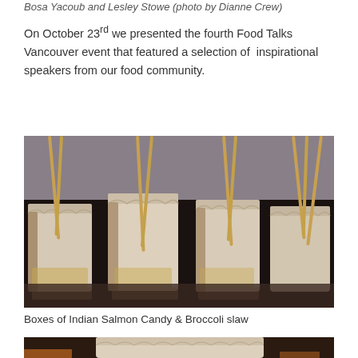Bosa Yacoub and Lesley Stowe (photo by Dianne Crew)
On October 23rd we presented the fourth Food Talks Vancouver event that featured a selection of inspirational speakers from our food community.
[Figure (photo): Multiple white takeout boxes with chopsticks sticking out of them, arranged in a group on a dark surface.]
Boxes of Indian Salmon Candy & Broccoli slaw
[Figure (photo): Close-up of a white takeout box on a dark surface, partially visible at the bottom of the page.]